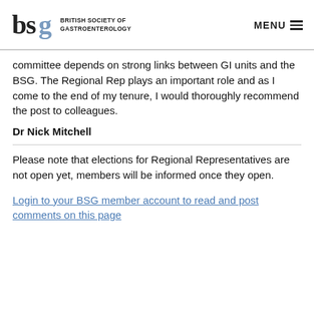BRITISH SOCIETY OF GASTROENTEROLOGY | MENU
committee depends on strong links between GI units and the BSG. The Regional Rep plays an important role and as I come to the end of my tenure, I would thoroughly recommend the post to colleagues.
Dr Nick Mitchell
Please note that elections for Regional Representatives are not open yet, members will be informed once they open.
Login to your BSG member account to read and post comments on this page